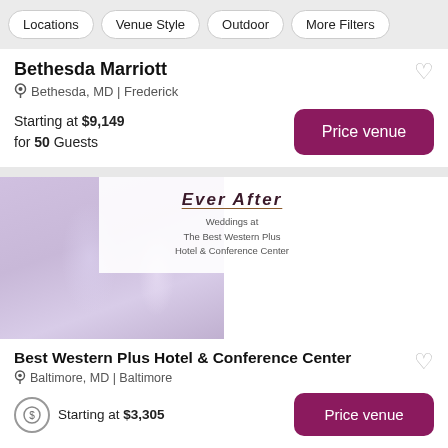Locations | Venue Style | Outdoor | More Filters
Bethesda Marriott
Bethesda, MD | Frederick
Starting at $9,149 for 50 Guests
[Figure (photo): Wedding reception venue photos for Best Western Plus Hotel & Conference Center, showing decorated tables with purple linens, glassware, and an overlay text panel reading 'Weddings at The Best Western Plus Hotel & Conference Center']
Best Western Plus Hotel & Conference Center
Baltimore, MD | Baltimore
Starting at $3,305